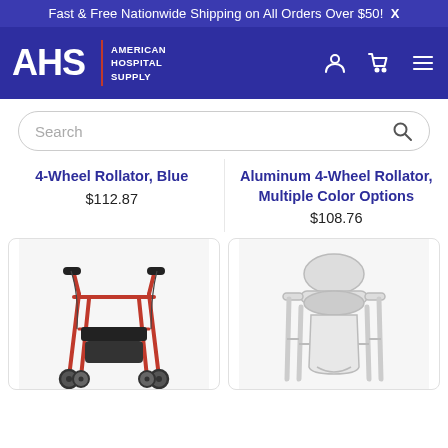Fast & Free Nationwide Shipping on All Orders Over $50!  X
[Figure (logo): AHS American Hospital Supply logo with red divider bar, white text on dark blue background, with person icon, cart icon, and hamburger menu icon]
Search
4-Wheel Rollator, Blue
$112.87
Aluminum 4-Wheel Rollator, Multiple Color Options
$108.76
[Figure (photo): Red 4-wheel rollator walker with black seat and handles, shown from front-left angle]
[Figure (photo): White bedside commode / toilet safety frame with white bucket and lid]